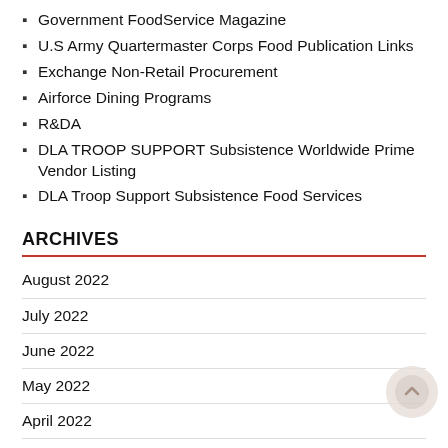Government FoodService Magazine
U.S Army Quartermaster Corps Food Publication Links
Exchange Non-Retail Procurement
Airforce Dining Programs
R&DA
DLA TROOP SUPPORT Subsistence Worldwide Prime Vendor Listing
DLA Troop Support Subsistence Food Services
ARCHIVES
August 2022
July 2022
June 2022
May 2022
April 2022
March 2022